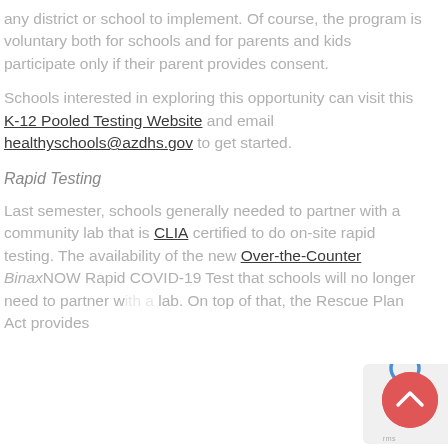any district or school to implement. Of course, the program is voluntary both for schools and for parents and kids participate only if their parent provides consent.
Schools interested in exploring this opportunity can visit this K-12 Pooled Testing Website and email healthyschools@azdhs.gov to get started.
Rapid Testing
Last semester, schools generally needed to partner with a community lab that is CLIA certified to do on-site rapid testing. The availability of the new Over-the-Counter BinaxNOW Rapid COVID-19 Test that schools will no longer need to partner with a lab. On top of that, the Rescue Plan Act provides